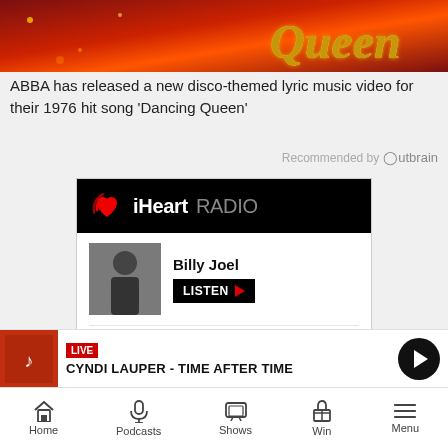[Figure (photo): Top portion of a music video thumbnail showing 'Dancing Queen' glittery gold text on dark/red background]
ABBA has released a new disco-themed lyric music video for their 1976 hit song 'Dancing Queen'
Recommended by Outbrain
[Figure (screenshot): iHeartRADIO widget showing Billy Joel and Queen artist rows with LISTEN buttons]
LIVE
CYNDI LAUPER - TIME AFTER TIME
Home  Podcasts  Shows  Win  Menu